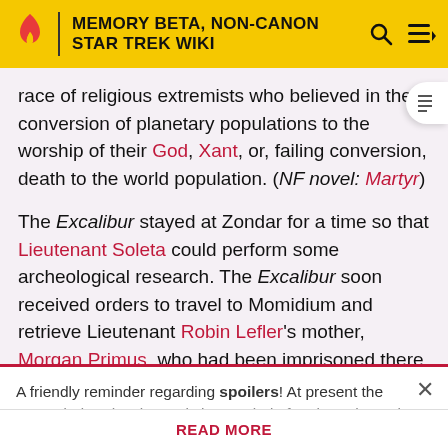MEMORY BETA, NON-CANON STAR TREK WIKI
race of religious extremists who believed in the conversion of planetary populations to the worship of their God, Xant, or, failing conversion, death to the world population. (NF novel: Martyr)
The Excalibur stayed at Zondar for a time so that Lieutenant Soleta could perform some archeological research. The Excalibur soon received orders to travel to Momidium and retrieve Lieutenant Robin Lefler's mother, Morgan Primus, who had been imprisoned there for five years for trespassing.
A friendly reminder regarding spoilers! At present the expanded Trek universe is in a period of major upheaval with
READ MORE